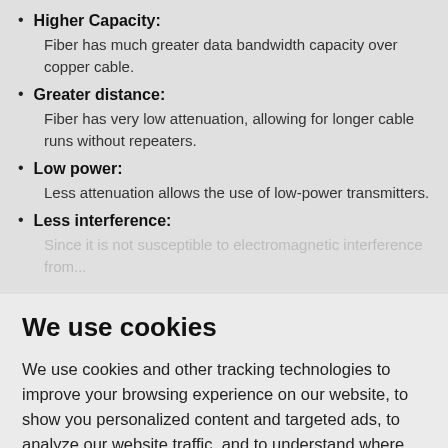Higher Capacity: Fiber has much greater data bandwidth capacity over copper cable.
Greater distance: Fiber has very low attenuation, allowing for longer cable runs without repeaters.
Low power: Less attenuation allows the use of low-power transmitters.
Less interference:
We use cookies
We use cookies and other tracking technologies to improve your browsing experience on our website, to show you personalized content and targeted ads, to analyze our website traffic, and to understand where our visitors are coming from.